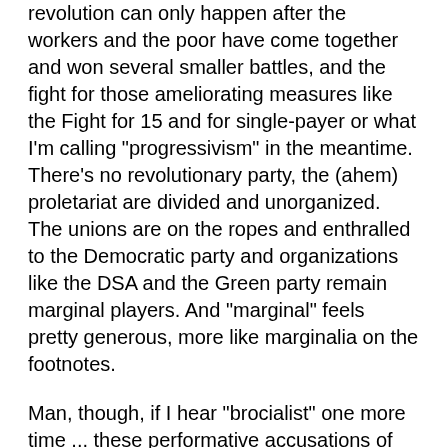revolution can only happen after the workers and the poor have come together and won several smaller battles, and the fight for those ameliorating measures like the Fight for 15 and for single-payer or what I'm calling "progressivism" in the meantime. There's no revolutionary party, the (ahem) proletariat are divided and unorganized. The unions are on the ropes and enthralled to the Democratic party and organizations like the DSA and the Green party remain marginal players. And "marginal" feels pretty generous, more like marginalia on the footnotes.
Man, though, if I hear "brocialist" one more time ... these performative accusations of racism and sexism by folks who blithely dismiss progressive women and POC because they don't meet donor-class approval criteria reek of projection. I'm a sexist/racist for not falling in line behind Kamala Harris because of her actual positions, but liberals who bash Ellison and Lee using right-wing smear tactics are somehow not? Fuck that. And fuck them.
Liberal, give me a straight answer on how you can support Bain Capital employee Deval Patrick before you get on my